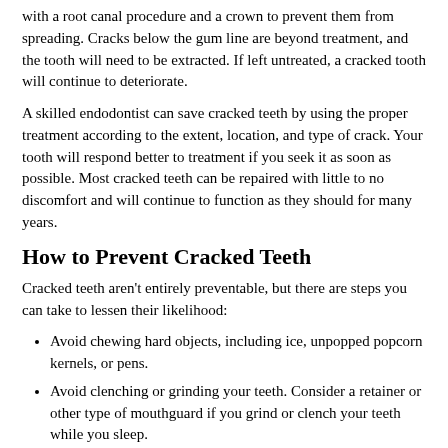with a root canal procedure and a crown to prevent them from spreading. Cracks below the gum line are beyond treatment, and the tooth will need to be extracted. If left untreated, a cracked tooth will continue to deteriorate.
A skilled endodontist can save cracked teeth by using the proper treatment according to the extent, location, and type of crack. Your tooth will respond better to treatment if you seek it as soon as possible. Most cracked teeth can be repaired with little to no discomfort and will continue to function as they should for many years.
How to Prevent Cracked Teeth
Cracked teeth aren't entirely preventable, but there are steps you can take to lessen their likelihood:
Avoid chewing hard objects, including ice, unpopped popcorn kernels, or pens.
Avoid clenching or grinding your teeth. Consider a retainer or other type of mouthguard if you grind or clench your teeth while you sleep.
When playing contact sports, always wear a mouthguard or protective mask.